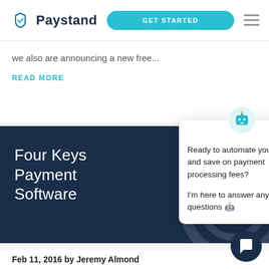Paystand | GET STARTED
we also are announcing a new free...
READ MORE
Four Keys Payment Software
[Figure (screenshot): Chat popup with robot icon, close button, message: Ready to automate your AR and save on payment processing fees? I'm here to answer any of your questions 🤖]
Feb 11, 2016 by Jeremy Almond